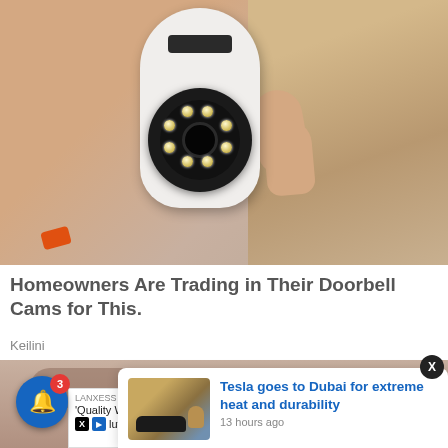[Figure (photo): A hand holding a small white PTZ security camera with multiple LED lights around the lens, shown against a cardboard box background]
Homeowners Are Trading in Their Doorbell Cams for This.
Keilini
[Figure (photo): A close-up of a person's eyes/face partially visible, with overlaid UI elements including a notification bell with badge showing 3, a LANXESS advertisement, and a Tesla news card]
Tesla goes to Dubai for extreme heat and durability
13 hours ago
LANXESS
'Quality Works' LANXESS presents high-quality solutions for plastics and rubber industry.